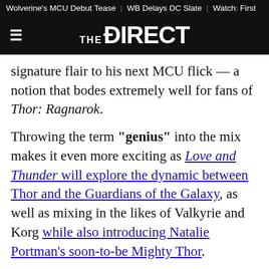Wolverine's MCU Debut Tease | WB Delays DC Slate | Watch: First
[Figure (logo): The Direct logo on dark background with hamburger menu icon]
signature flair to his next MCU flick — a notion that bodes extremely well for fans of Thor: Ragnarok.
Throwing the term "genius" into the mix makes it even more exciting as Love and Thunder will explore the dynamic between Thor and the Guardians of the Galaxy, as well as mixing in the likes of Valkyrie and Korg while also introducing Natalie Portman's soon-to-be Mighty Thor.
Needless to say, Thor: Love and Thunder will